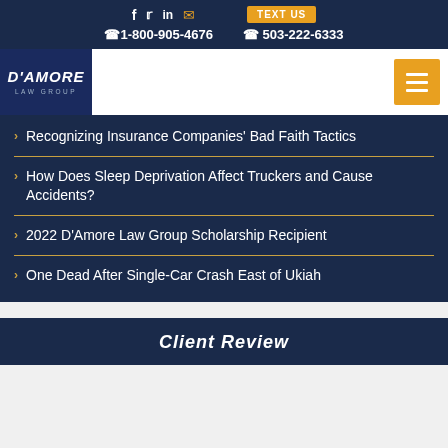f  tw  in  [email] | TEXT US | ☎1-800-905-4676 | ☎ 503-222-6333
[Figure (logo): D'Amore Law Group logo - white text on dark blue background]
Recognizing Insurance Companies' Bad Faith Tactics
How Does Sleep Deprivation Affect Truckers and Cause Accidents?
2022 D'Amore Law Group Scholarship Recipient
One Dead After Single-Car Crash East of Ukiah
Client Review